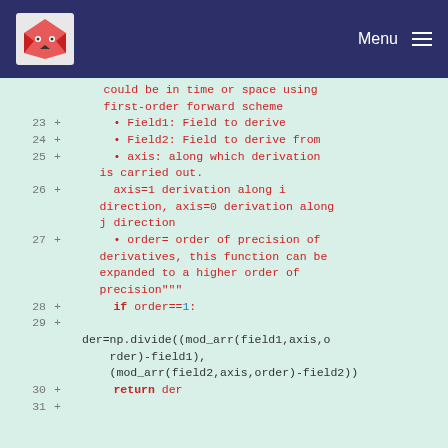Menu
[Figure (screenshot): Code diff view showing Python function documentation and code lines 23-31 with added lines marked in red on a light green background]
could be in time or space using first-order forward scheme
Field1: Field to derive
Field2: Field to derive from
axis: along which derivation is carried out.
axis=1 derivation along i direction, axis=0 derivation along j direction
order= order of precision of derivatives, this function can be expanded to a higher order of precision"""
if order==1:
der=np.divide((mod_arr(field1,axis,order)-field1),(mod_arr(field2,axis,order)-field2))
return der